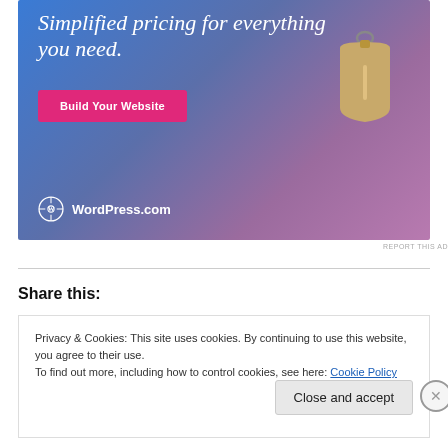[Figure (illustration): WordPress.com advertisement banner with gradient blue-to-purple background, showing text 'Simplified pricing for everything you need.', a pink 'Build Your Website' button, a tan price tag illustration, and WordPress.com logo at bottom left.]
REPORT THIS AD
Share this:
Privacy & Cookies: This site uses cookies. By continuing to use this website, you agree to their use.
To find out more, including how to control cookies, see here: Cookie Policy
Close and accept